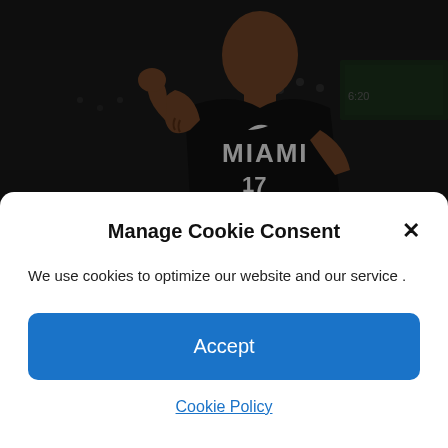[Figure (photo): Basketball player wearing Miami Heat black jersey number 17, raising his hand, in an arena setting]
Sources: Sixers chasing PJ Tucker; Matisse Thybulle and choice No. 23 are bought to
Manage Cookie Consent
We use cookies to optimize our website and our service .
Accept
Cookie Policy